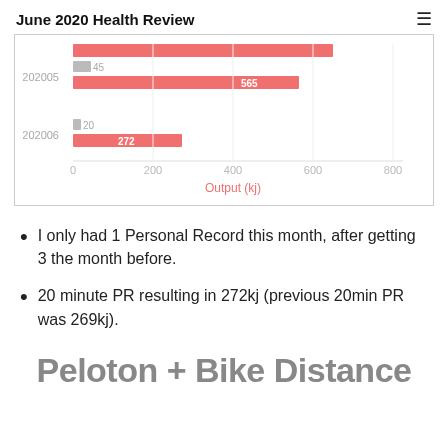June 2020 Health Review
[Figure (bar-chart): Output (kj)]
I only had 1 Personal Record this month, after getting 3 the month before.
20 minute PR resulting in 272kj (previous 20min PR was 269kj).
Peloton + Bike Distance